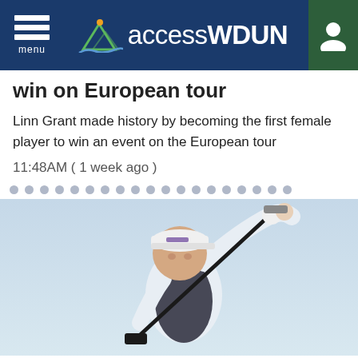accessWDUN
win on European tour
Linn Grant made history by becoming the first female player to win an event on the European tour
11:48AM ( 1 week ago )
[Figure (photo): Female golfer mid-swing wearing white long-sleeve shirt and white cap, taken from low angle against a light blue sky]